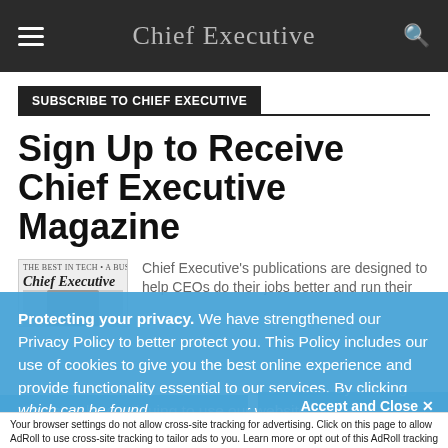Chief Executive
SUBSCRIBE TO CHIEF EXECUTIVE
Sign Up to Receive Chief Executive Magazine
[Figure (photo): Chief Executive magazine cover with a person's face partially visible]
Chief Executive's publications are designed to help CEOs do their jobs better and run their
Protecting your privacy. We have strengthened our Privacy Policy to better protect you. This Policy includes our use of cookies to give you the best online experience and provide functionality essential to our services. By clicking 'Close' or by continuing to use our website, you are consenting to our
which can be hand
Accept and Close ×
Your browser settings do not allow cross-site tracking for advertising. Click on this page to allow AdRoll to use cross-site tracking to tailor ads to you. Learn more or opt out of this AdRoll tracking by clicking here. This message only appears once.